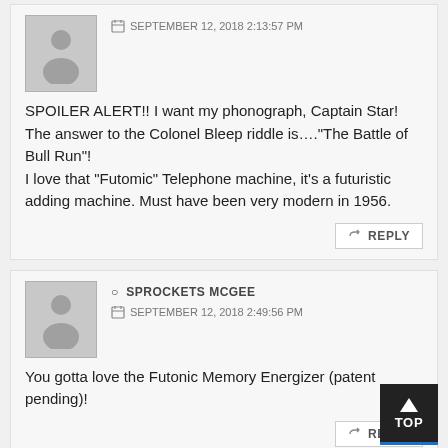SEPTEMBER 12, 2018 2:13:57 PM
SPOILER ALERT!! I want my phonograph, Captain Star! The answer to the Colonel Bleep riddle is…."The Battle of Bull Run"!
I love that “Futomic” Telephone machine, it’s a futuristic adding machine. Must have been very modern in 1956.
REPLY
SPROCKETS MCGEE
SEPTEMBER 12, 2018 2:49:56 PM
You gotta love the Futonic Memory Energizer (patent pending)!
REPLY
AARON NEATHERY
SEPTEMBER 12, 2018 4:05:44 PM